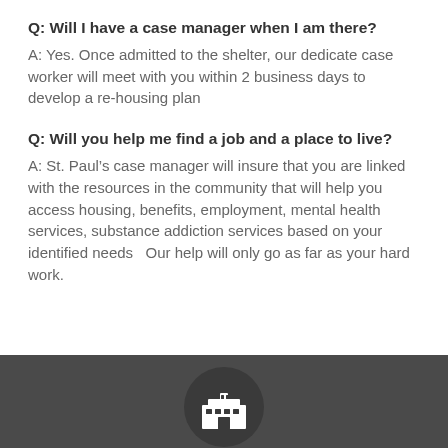Q: Will I have a case manager when I am there?
A: Yes. Once admitted to the shelter, our dedicate case worker will meet with you within 2 business days to develop a re-housing plan
Q: Will you help me find a job and a place to live?
A: St. Paul’s case manager will insure that you are linked with the resources in the community that will help you access housing, benefits, employment, mental health services, substance addiction services based on your identified needs  Our help will only go as far as your hard work.
[Figure (illustration): Dark gray footer section with a circular dark icon containing a white building/institution icon at the bottom center]